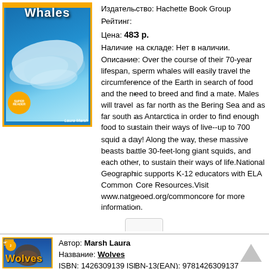[Figure (photo): Book cover for National Geographic Super Reader about sperm whales, blue ocean background with whale images, yellow border]
Издательство: Hachette Book Group
Рейтинг:
Цена: 483 р.
Наличие на складе: Нет в наличии.
Описание: Over the course of their 70-year lifespan, sperm whales will easily travel the circumference of the Earth in search of food and the need to breed and find a mate. Males will travel as far north as the Bering Sea and as far south as Antarctica in order to find enough food to sustain their ways of live--up to 700 squid a day! Along the way, these massive beasts battle 30-feet-long giant squids, and each other, to sustain their ways of life.National Geographic supports K-12 educators with ELA Common Core Resources.Visit www.natgeoed.org/commoncore for more information.
[Figure (photo): Book cover for National Geographic Kids Level 2 - Wolves, blue background with wolf image, yellow border, orange title text]
Автор: Marsh Laura
Название: Wolves
ISBN: 1426309139 ISBN-13(EAN): 9781426309137
Издательство: Hachette Book Group
Рейтинг: